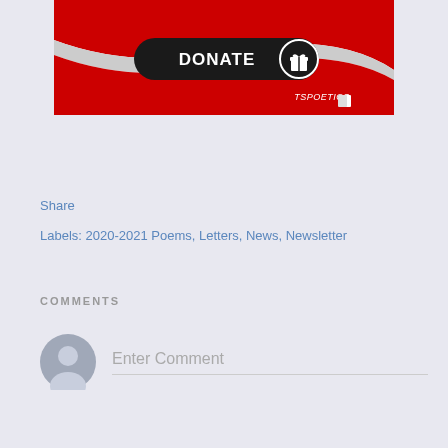[Figure (illustration): Donate button graphic with red and white swirl design, black pill-shaped button with 'DONATE' text and a gift icon circle, and 'TSPOETICS' branding with book icon in bottom right]
Share
Labels: 2020-2021 Poems, Letters, News, Newsletter
COMMENTS
Enter Comment